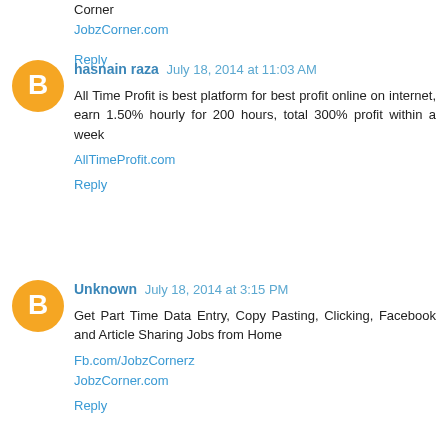Corner
JobzCorner.com
Reply
hasnain raza  July 18, 2014 at 11:03 AM
All Time Profit is best platform for best profit online on internet, earn 1.50% hourly for 200 hours, total 300% profit within a week
AllTimeProfit.com
Reply
Unknown  July 18, 2014 at 3:15 PM
Get Part Time Data Entry, Copy Pasting, Clicking, Facebook and Article Sharing Jobs from Home
Fb.com/JobzCornerz
JobzCorner.com
Reply